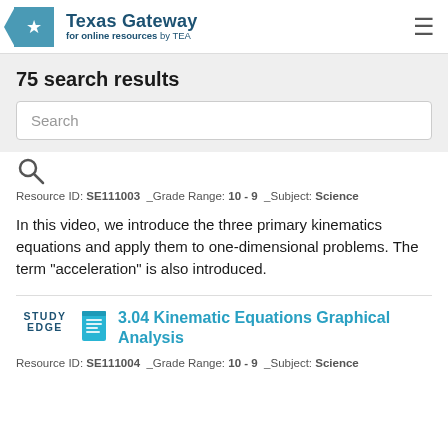Texas Gateway for online resources by TEA
75 search results
Search
Resource ID: SE111003  _Grade Range: 10 - 9  _Subject: Science
In this video, we introduce the three primary kinematics equations and apply them to one-dimensional problems. The term "acceleration" is also introduced.
3.04 Kinematic Equations Graphical Analysis
Resource ID: SE111004  _Grade Range: 10 - 9  _Subject: Science